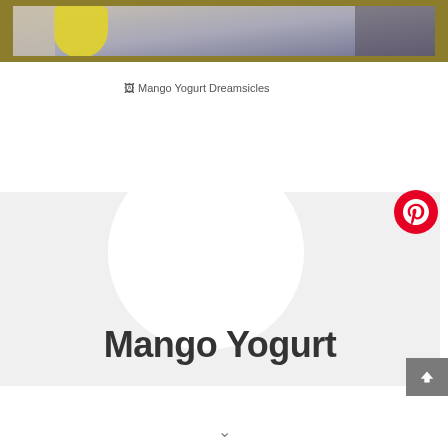[Figure (photo): Top partial photo showing a yellow object (likely mango popsicle/dreamsicle) against a blurred background, framed with a golden/olive border]
[Figure (other): Broken image placeholder with alt text 'Mango Yogurt Dreamsicles']
[Figure (other): Card with light gray background, white circle shape, Pinterest button overlay, scroll-to-top button, and large bold text 'Mango Yogurt']